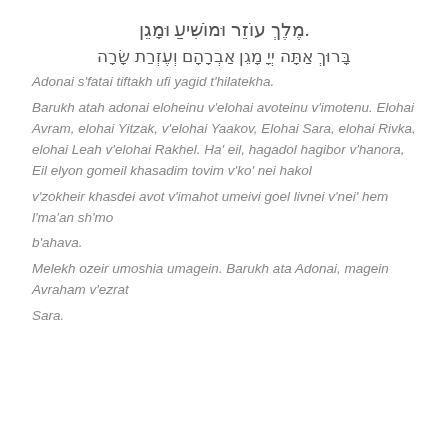.מֶלֶךְ עוֹזֵר וּמוֹשִׁיעַ וּמָגֵן
בָּרוּךְ אַתָּה יְיָ מָגֵן אַבְרָהָם וְעֶזְרַת שָׂרָה
Adonai s'fatai tiftakh ufi yagid t'hilatekha.
Barukh atah adonai eloheinu v'elohai avoteinu v'imotenu. Elohai Avram, elohai Yitzak, v'elohai Yaakov, Elohai Sara, elohai Rivka, elohai Leah v'elohai Rakhel. Ha' eil, hagadol hagibor v'hanora, Eil elyon gomeil khasadim tovim v'ko' nei hakol
v'zokheir khasdei avot v'imahot umeivi goel livnei v'nei' hem l'ma'an sh'mo
b'ahava.
Melekh ozeir umoshia umagein. Barukh ata Adonai, magein Avraham v'ezrat
Sara.